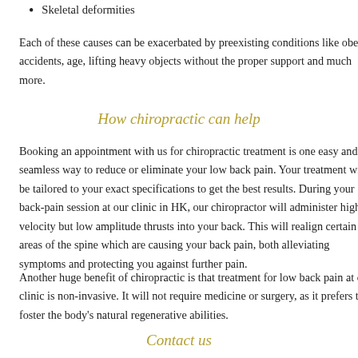Skeletal deformities
Each of these causes can be exacerbated by preexisting conditions like obesity, accidents, age, lifting heavy objects without the proper support and much more.
How chiropractic can help
Booking an appointment with us for chiropractic treatment is one easy and seamless way to reduce or eliminate your low back pain. Your treatment will be tailored to your exact specifications to get the best results. During your back-pain session at our clinic in HK, our chiropractor will administer high velocity but low amplitude thrusts into your back. This will realign certain areas of the spine which are causing your back pain, both alleviating symptoms and protecting you against further pain.
Another huge benefit of chiropractic is that treatment for low back pain at our clinic is non-invasive. It will not require medicine or surgery, as it prefers to foster the body's natural regenerative abilities.
Contact us